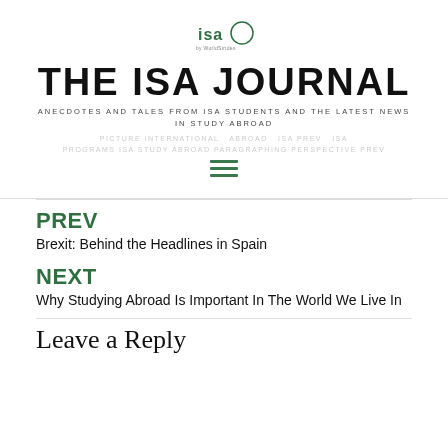[Figure (logo): ISA by WorldStrides circular logo]
THE ISA JOURNAL
ANECDOTES AND TALES FROM ISA STUDENTS AND THE LATEST NEWS IN STUDY ABROAD
PICTURE INTERNATIONAL ABROAD ISA PREV ISA PROGRAMS ISA STUDY ABROAD PARAGRAPHING PERSPECTIVE PREV
[Figure (other): Hamburger menu icon (three horizontal lines)]
PREV
Brexit: Behind the Headlines in Spain
NEXT
Why Studying Abroad Is Important In The World We Live In
Leave a Reply